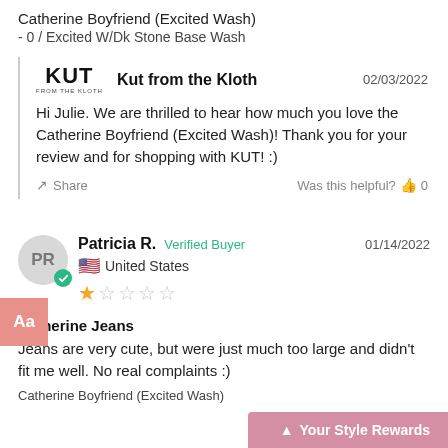Catherine Boyfriend (Excited Wash)
- 0 / Excited W/Dk Stone Base Wash
Kut from the Kloth  02/03/2022
Hi Julie. We are thrilled to hear how much you love the Catherine Boyfriend (Excited Wash)! Thank you for your review and for shopping with KUT! :)
Share   Was this helpful?  👍 0
Patricia R.  Verified Buyer  01/14/2022
🇺🇸 United States
★☆☆☆☆
Katherine Jeans
Jeans are very cute, but were just much too large and didn't fit me well. No real complaints :)
Catherine Boyfriend (Excited Wash)